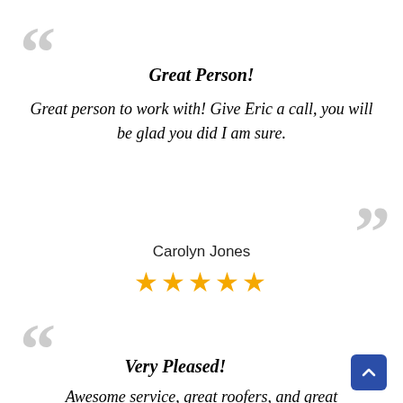““ (open quote mark, decorative)
Great Person!
Great person to work with! Give Eric a call, you will be glad you did I am sure.
”” (close quote mark, decorative)
Carolyn Jones
★★★★★
““ (open quote mark, decorative)
Very Pleased!
Awesome service, great roofers, and great